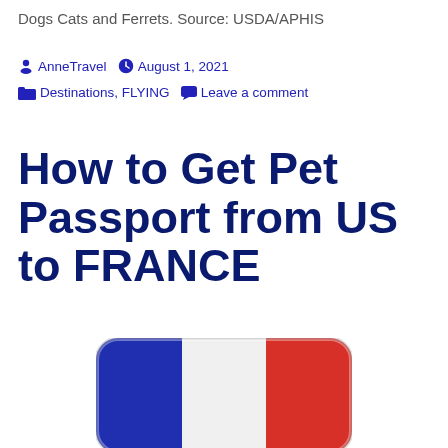Dogs Cats and Ferrets. Source: USDA/APHIS
AnneTravel   August 1, 2021
Destinations, FLYING   Leave a comment
How to Get Pet Passport from US to FRANCE
[Figure (illustration): French flag icon with rounded rectangle shape, showing blue, white, and red vertical stripes]